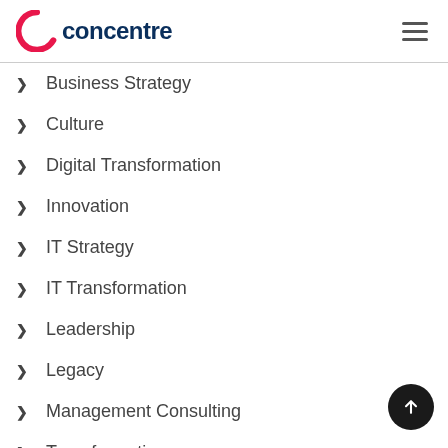[Figure (logo): Concentre company logo with a pink/red stylized C and dark blue text reading 'concentre']
Business Strategy
Culture
Digital Transformation
Innovation
IT Strategy
IT Transformation
Leadership
Legacy
Management Consulting
Transformation